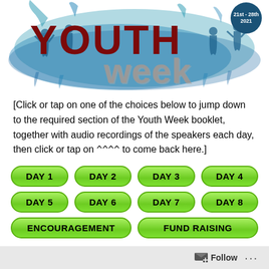[Figure (illustration): Youth Week 2021 banner image with colorful blue splash art, people silhouettes, 'Youth' in dark red and 'week' in grey text, with a dark blue circular date badge showing '21st - 28th 2021']
[Click or tap on one of the choices below to jump down to the required section of the Youth Week booklet, together with audio recordings of the speakers each day, then click or tap on ^^^^ to come back here.]
DAY 1
DAY 2
DAY 3
DAY 4
DAY 5
DAY 6
DAY 7
DAY 8
ENCOURAGEMENT
FUND RAISING
Follow ...